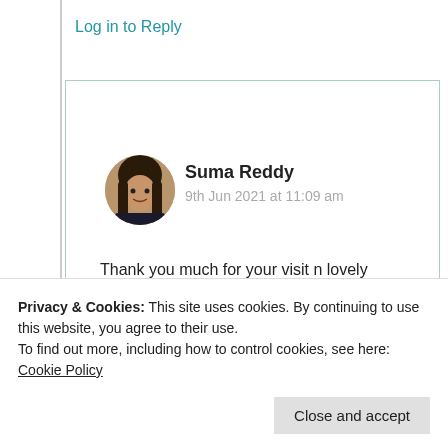Log in to Reply
[Figure (photo): Circular profile photo of Suma Reddy, a person with long dark hair]
Suma Reddy
9th Jun 2021 at 11:09 am
Thank you much for your visit n lovely views dear friend 😇🧡
★ Liked by 1 person
Privacy & Cookies: This site uses cookies. By continuing to use this website, you agree to their use.
To find out more, including how to control cookies, see here: Cookie Policy
Close and accept